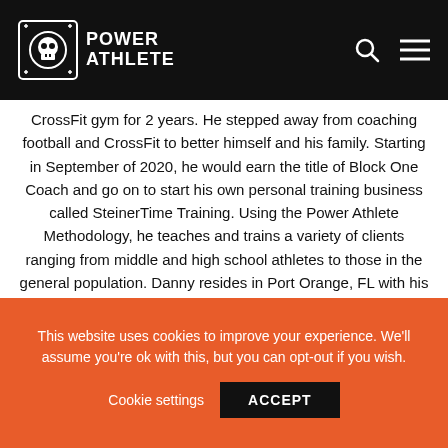Power Athlete
CrossFit gym for 2 years. He stepped away from coaching football and CrossFit to better himself and his family. Starting in September of 2020, he would earn the title of Block One Coach and go on to start his own personal training business called SteinerTime Training. Using the Power Athlete Methodology, he teaches and trains a variety of clients ranging from middle and high school athletes to those in the general population. Danny resides in Port Orange, FL with his wife and daughter where he pursues his passion of empowering his clients to be the best version of themselves possible.
This website uses cookies to improve your experience. We'll assume you're ok with this, but you can opt-out if you wish.
Cookie settings  ACCEPT